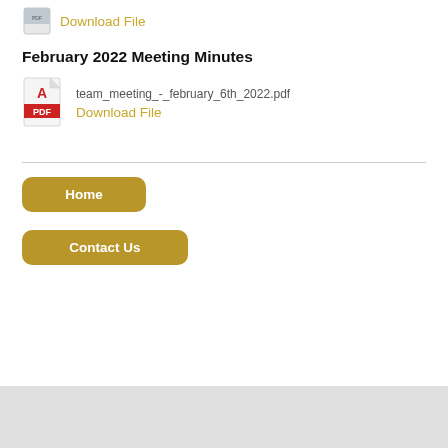[Figure (other): Small PDF icon thumbnail (partially cropped at top)]
Download File
February 2022 Meeting Minutes
[Figure (other): Red and white PDF file icon]
team_meeting_-_february_6th_2022.pdf
Download File
Home
Contact Us